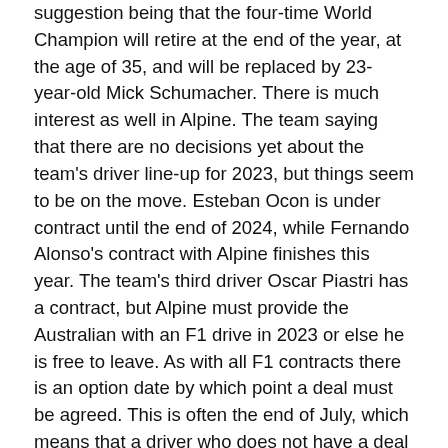suggestion being that the four-time World Champion will retire at the end of the year, at the age of 35, and will be replaced by 23-year-old Mick Schumacher. There is much interest as well in Alpine. The team saying that there are no decisions yet about the team's driver line-up for 2023, but things seem to be on the move. Esteban Ocon is under contract until the end of 2024, while Fernando Alonso's contract with Alpine finishes this year. The team's third driver Oscar Piastri has a contract, but Alpine must provide the Australian with an F1 drive in 2023 or else he is free to leave. As with all F1 contracts there is an option date by which point a deal must be agreed. This is often the end of July, which means that a driver who does not have a deal for the following year still has the time to find an alternative. The thinking in recent weeks has been that the team would agree to another two-year contract with Fernando Alonso for 2023 and 2024.